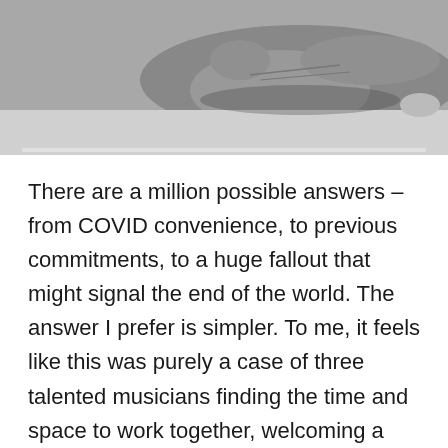[Figure (photo): Black and white photograph of an elderly person's hand resting on a flat surface, shot from above.]
There are a million possible answers – from COVID convenience, to previous commitments, to a huge fallout that might signal the end of the world. The answer I prefer is simpler. To me, it feels like this was purely a case of three talented musicians finding the time and space to work together, welcoming a freedom that must be hard to find when you are used to working with one of the world's most successful and adored bands. A Light For Attracting Attention seems to